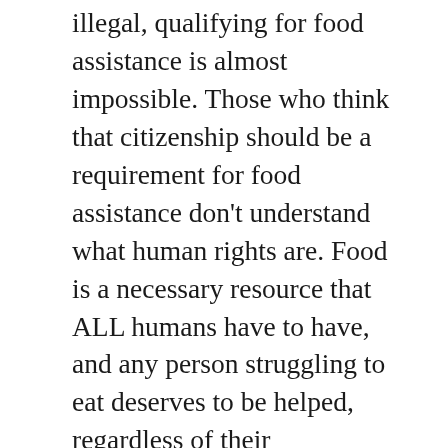illegal, qualifying for food assistance is almost impossible. Those who think that citizenship should be a requirement for food assistance don't understand what human rights are. Food is a necessary resource that ALL humans have to have, and any person struggling to eat deserves to be helped, regardless of their citizenship status. There is also a requirement that people applying for assistance should have a job working at least 20 hours a week. This means that if you are unemployed, you cannot qualify for food assistance. That is exactly when you need the most help when you have no income or are transitioning from one job to another. On top of all these extensive eligibility requirements, if you are on strike, expressing your right to protest, something secured to you by the Constitution of the United States of America, you will not be able to qualify for food assistance. These conditions that require the people